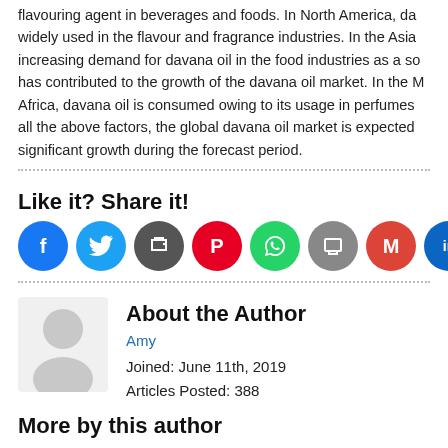flavouring agent in beverages and foods. In North America, da widely used in the flavour and fragrance industries. In the Asia increasing demand for davana oil in the food industries as a so has contributed to the growth of the davana oil market. In the M Africa, davana oil is consumed owing to its usage in perfumes all the above factors, the global davana oil market is expected significant growth during the forecast period.
Like it? Share it!
[Figure (infographic): Row of social media share icon circles: Facebook (blue, f), Twitter (blue, bird), share (dark gray), Pinterest (red, P), WhatsApp (green, phone), print (gray), Gmail (red, M), LinkedIn (teal, in), Google (gray, G), plus (orange, +)]
About the Author
[Figure (illustration): Generic gray user avatar silhouette (head and shoulders)]
Amy
Joined: June 11th, 2019
Articles Posted: 388
More by this author
Carotenoids Market ◆ Research Reveals the Influences Industry Growth